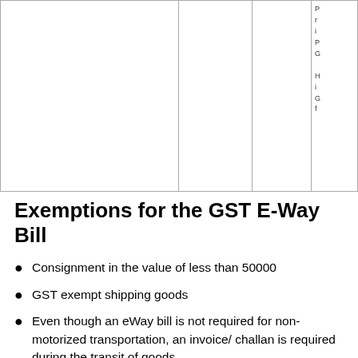|  |  |  |  |
|  |  |  |  |
Exemptions for the GST E-Way Bill
Consignment in the value of less than 50000
GST exempt shipping goods
Even though an eWay bill is not required for non-motorized transportation, an invoice/ challan is required during the transit of goods.